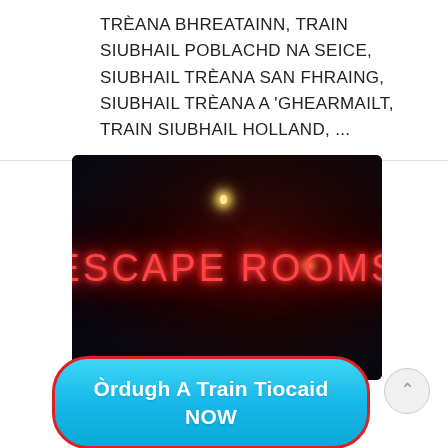TRÈANA BHREATAINN, TRAIN SIUBHAIL POBLACHD NA SEICE, SIUBHAIL TRÈANA SAN FHRAING, SIUBHAIL TRÈANA A 'GHEARMAILT, TRAIN SIUBHAIL HOLLAND, ...
[Figure (photo): Dark atmospheric photo of a neon sign reading 'ESCAPE ROOMS' in red neon letters against a very dark background with a couple of light points visible]
Òrdugh A Train Tiocaid NOW